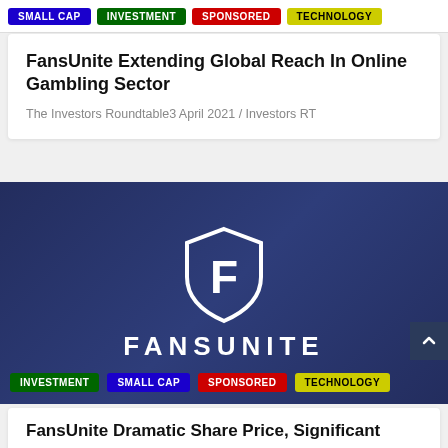SMALL CAP  INVESTMENT  SPONSORED  TECHNOLOGY
FansUnite Extending Global Reach In Online Gambling Sector
The Investors Roundtable3 April 2021 / Investors RT
[Figure (logo): FansUnite shield logo with letter F and wordmark FANSUNITE on dark navy blue background with category tags: INVESTMENT, SMALL CAP, SPONSORED, TECHNOLOGY]
FansUnite Dramatic Share Price, Significant